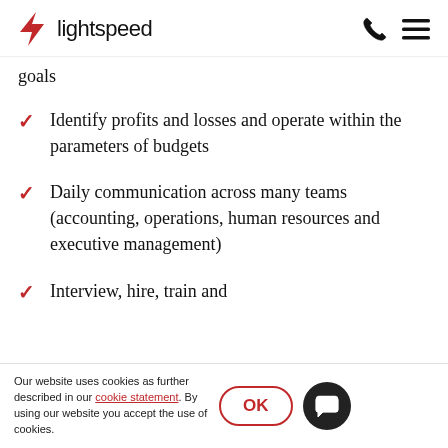lightspeed
goals
Identify profits and losses and operate within the parameters of budgets
Daily communication across many teams (accounting, operations, human resources and executive management)
Interview, hire, train and
Our website uses cookies as further described in our cookie statement. By using our website you accept the use of cookies.